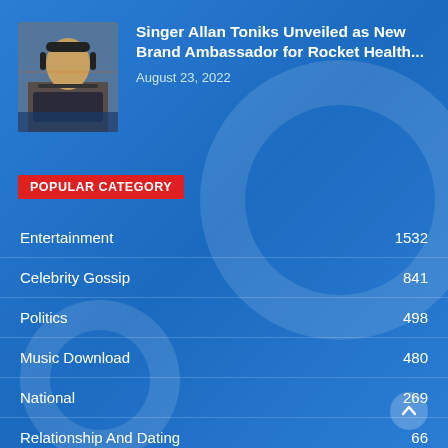[Figure (photo): Photo of singer Allan Toniks wearing headphones in a recording studio setting]
Singer Allan Toniks Unveiled as New Brand Ambassador for Rocket Health...
August 23, 2022
POPULAR CATEGORY
Entertainment  1532
Celebrity Gossip  841
Politics  498
Music Download  480
National  269
Relationship And Dating  66
Biography  66